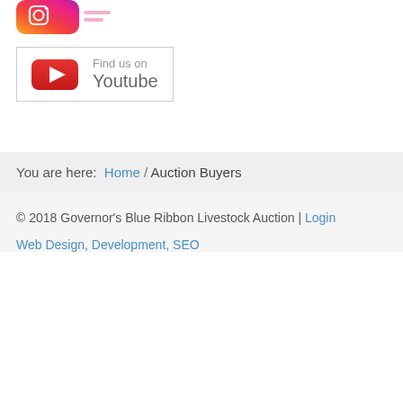[Figure (logo): Instagram logo (partial, cropped) — gradient orange-pink-purple icon with text]
[Figure (other): YouTube 'Find us on Youtube' button box with red YouTube play icon on left and text 'Find us on Youtube' on right, enclosed in a light grey border]
You are here: Home / Auction Buyers
© 2018 Governor's Blue Ribbon Livestock Auction | Login
Web Design, Development, SEO